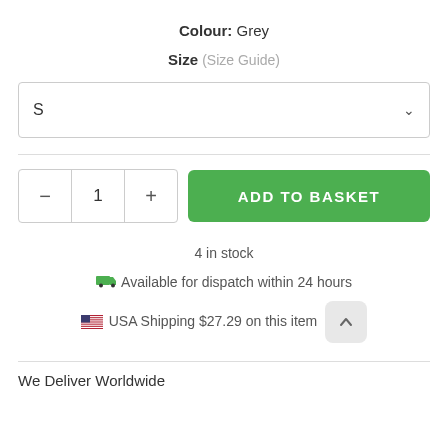Colour: Grey
Size (Size Guide)
S
1
ADD TO BASKET
4 in stock
Available for dispatch within 24 hours
USA Shipping $27.29 on this item
We Deliver Worldwide